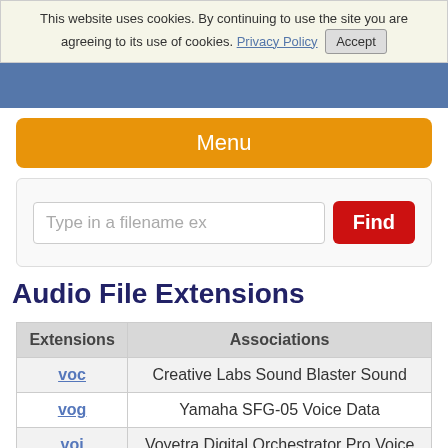This website uses cookies. By continuing to use the site you are agreeing to its use of cookies. Privacy Policy Accept
Menu
Type in a filename ex   Find
Audio File Extensions
| Extensions | Associations |
| --- | --- |
| voc | Creative Labs Sound Blaster Sound |
| vog | Yamaha SFG-05 Voice Data |
| voi | Voyetra Digital Orchestrator Pro Voice |
| vox | Adobe Audition Audio Wave Data |
| vox | Dialogic ADPCM Audio |